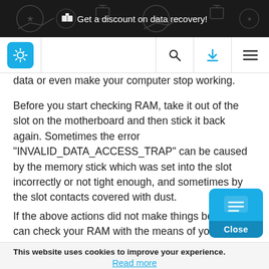🎁 Get a discount on data recovery!
[Figure (logo): Website logo with gear/settings icon in teal square, and nav icons: search, download, menu]
data or even make your computer stop working.
Before you start checking RAM, take it out of the slot on the motherboard and then stick it back again. Sometimes the error "INVALID_DATA_ACCESS_TRAP" can be caused by the memory stick which was set into the slot incorrectly or not tight enough, and sometimes by the slot contacts covered with dust.
If the above actions did not make things better, you can check your RAM with the means of your opera
This website uses cookies to improve your experience.
Read more